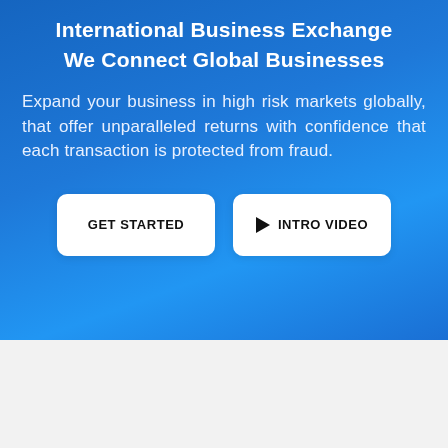International Business Exchange
We Connect Global Businesses
Expand your business in high risk markets globally, that offer unparalleled returns with confidence that each transaction is protected from fraud.
[Figure (other): GET STARTED button (white rounded rectangle with bold black text)]
[Figure (other): INTRO VIDEO button (white rounded rectangle with play icon and bold black text)]
24/7 Support